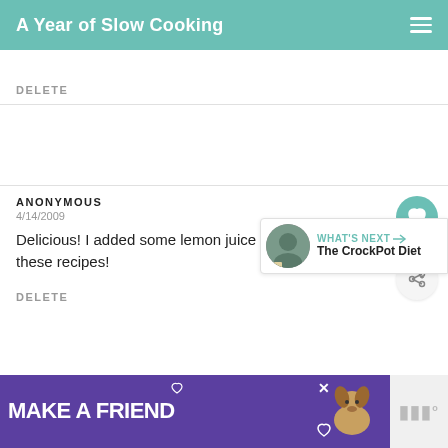A Year of Slow Cooking
DELETE
ANONYMOUS
4/14/2009
Delicious! I added some lemon juice and salt love these recipes!
DELETE
[Figure (screenshot): MAKE A FRIEND advertisement banner in purple]